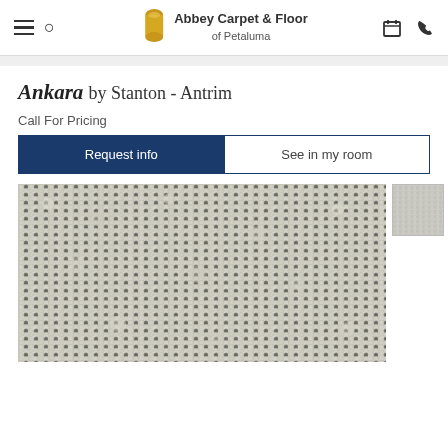Abbey Carpet & Floor of Petaluma
Ankara by Stanton - Antrim
Call For Pricing
Request info | See in my room
[Figure (photo): Close-up photo of a textured loop pile carpet in light grey/cream color, showing the Ankara style by Stanton - Antrim collection. A small thumbnail swatch is shown to the right.]